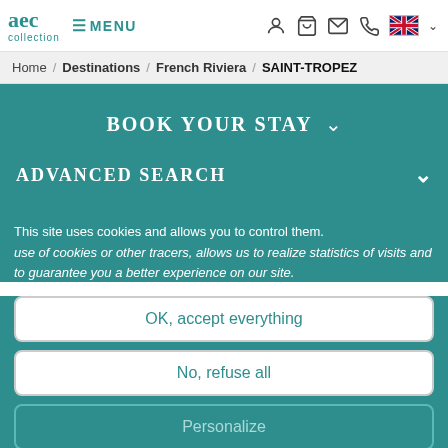aec collection | MENU | [icons: user, cart, mail, phone, UK flag]
Home / Destinations / French Riviera / SAINT-TROPEZ
BOOK YOUR STAY
ADVANCED SEARCH
This site uses cookies and allows you to control them. use of cookies or other tracers, allows us to realize statistics of visits and to guarantee you a better experience on our site.
OK, accept everything
No, refuse all
Personalize